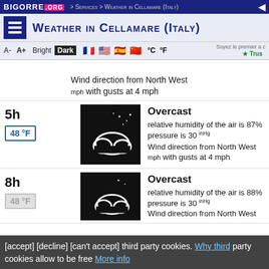BIGORRE .ORG > Services > Weather in Cellamare (Italy)
Weather in Cellamare (Italy)
A- A+ Bright Dark °C °F
Wind direction from North West mph with gusts at 4 mph
5h — 48 °F — Overcast — relative humidity of the air is 87% — pressure is 30 inHg — Wind direction from North West mph with gusts at 4 mph
8h — 48 °F — Overcast — relative humidity of the air is 88% — pressure is 30 inHg — Wind direction from North West
[accept] [decline] [can't accept] third party cookies. Why third party cookies allow to be free More info